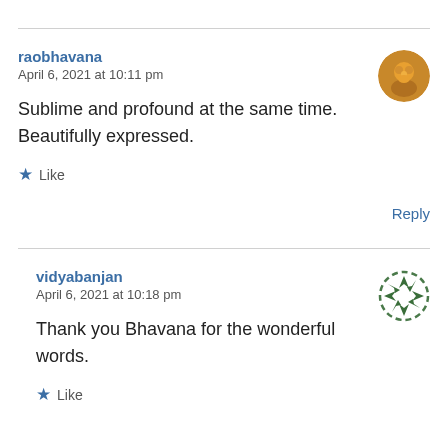raobhavana
April 6, 2021 at 10:11 pm
Sublime and profound at the same time. Beautifully expressed.
Like
Reply
vidyabanjan
April 6, 2021 at 10:18 pm
Thank you Bhavana for the wonderful words.
Like